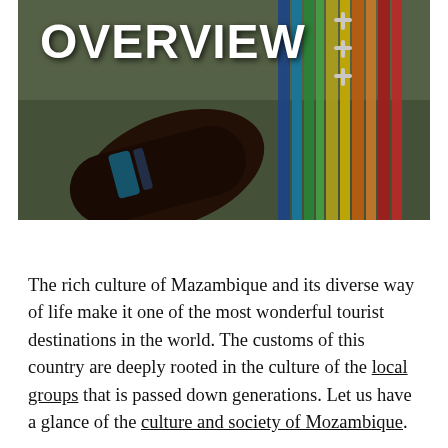[Figure (photo): Dark-toned photograph showing a person's arm with bracelets alongside colorful beaded traditional jewelry/garments in blue, green, yellow, orange, and red stripes. Background is blurred outdoor scene.]
OVERVIEW
The rich culture of Mazambique and its diverse way of life make it one of the most wonderful tourist destinations in the world. The customs of this country are deeply rooted in the culture of the local groups that is passed down generations. Let us have a glance of the culture and society of Mozambique.